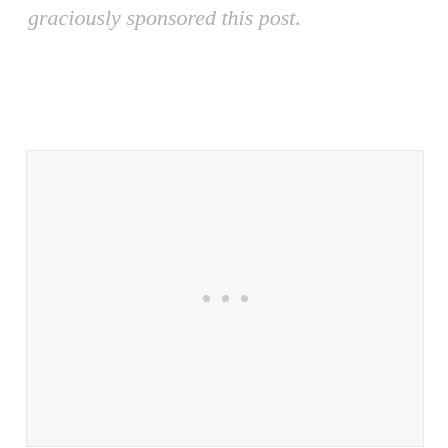graciously sponsored this post.
[Figure (other): Light gray placeholder image box with three small dots centered, indicating a loading or embedded image area]